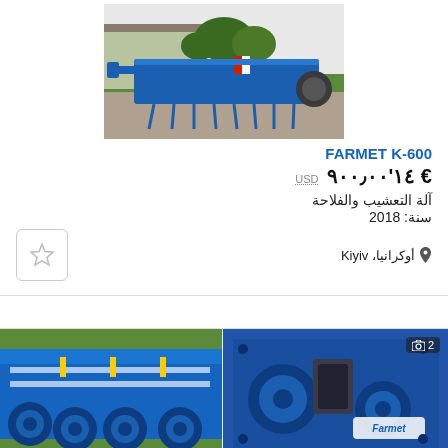[Figure (photo): Blue agricultural tillage machine (Farmet K-600) outdoors on gravel with green background, viewed from the side/front]
FARMET K-600
€ 14'900,00  USD
آلة التعشيب والفلاحة
سنة: 2018
📍 أوكرانيا، Kiyiv
[Figure (photo): Close-up of blue Farmet agricultural seeder/cultivator machinery]
[Figure (photo): Close-up of blue Farmet agricultural machinery with camera badge showing 2 photos]